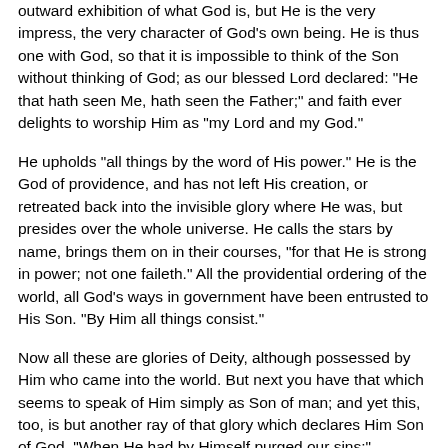outward exhibition of what God is, but He is the very impress, the very character of God's own being. He is thus one with God, so that it is impossible to think of the Son without thinking of God; as our blessed Lord declared: "He that hath seen Me, hath seen the Father;" and faith ever delights to worship Him as "my Lord and my God."
He upholds "all things by the word of His power." He is the God of providence, and has not left His creation, or retreated back into the invisible glory where He was, but presides over the whole universe. He calls the stars by name, brings them on in their courses, "for that He is strong in power; not one faileth." All the providential ordering of the world, all God's ways in government have been entrusted to His Son. "By Him all things consist."
Now all these are glories of Deity, although possessed by Him who came into the world. But next you have that which seems to speak of Him simply as Son of man; and yet this, too, is but another ray of that glory which declares Him Son of God. "When He had by Himself purged our sins:" — purging of sins is sacrificial work. The details of it are not gone into here. It is simply declared that the divine Son put away sin according to all the value and perfection of His nature, for none other than a divinely valuable sacrifice could have availed for the sin of a guilty world.